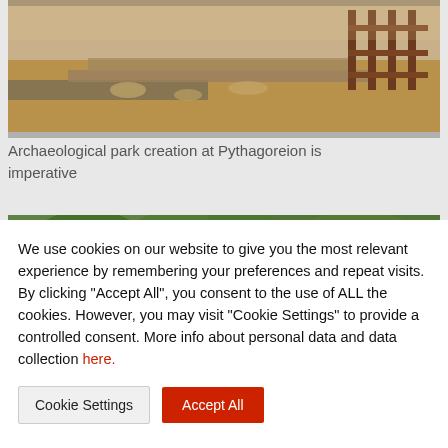[Figure (photo): Archaeological site at Pythagoreion showing stone ruins, wooden railings/fences, and dry earth ground]
Archaeological park creation at Pythagoreion is imperative
[Figure (photo): Partial view of second image showing green vegetation and stone wall ruins at an archaeological site]
We use cookies on our website to give you the most relevant experience by remembering your preferences and repeat visits. By clicking “Accept All”, you consent to the use of ALL the cookies. However, you may visit “Cookie Settings” to provide a controlled consent. More info about personal data and data collection here.